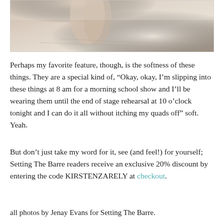[Figure (photo): Close-up photo of a person's legs near a window or floor, showing bare skin and a light background.]
Perhaps my favorite feature, though, is the softness of these things. They are a special kind of, “Okay, okay, I’m slipping into these things at 8 am for a morning school show and I’ll be wearing them until the end of stage rehearsal at 10 o’clock tonight and I can do it all without itching my quads off” soft. Yeah.
But don’t just take my word for it, see (and feel!) for yourself; Setting The Barre readers receive an exclusive 20% discount by entering the code KIRSTENZARELY at checkout.
all photos by Jenay Evans for Setting The Barre.